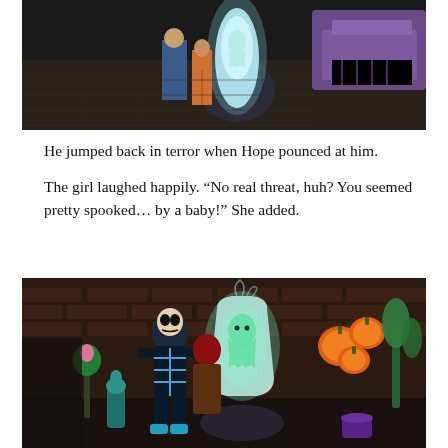[Figure (screenshot): A dark indoor scene from The Sims video game showing characters near a glowing ghost lamp/object with purple furniture in the background]
He jumped back in terror when Hope pounced at him.
The girl laughed happily. “No real threat, huh? You seemed pretty spooked… by a baby!” She added.
[Figure (screenshot): A dark scene from The Sims video game showing a character in a skeleton costume standing near a glowing ghost lamp, with orange decorative objects and plants in the background against a brick wall]